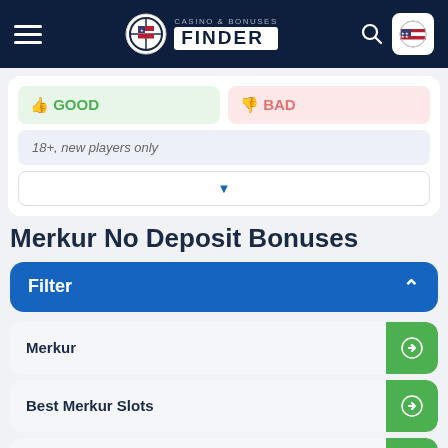Casino & Bonuses Finder
GOOD   BAD
18+, new players only
Merkur No Deposit Bonuses
Filter
Merkur
Best Merkur Slots
Best Merkur Casinos